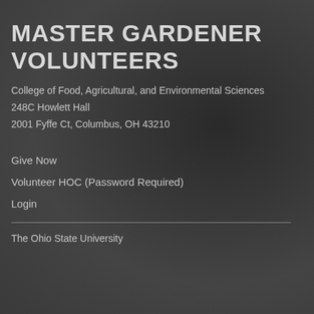MASTER GARDENER VOLUNTEERS
College of Food, Agricultural, and Environmental Sciences
248C Howlett Hall
2001 Fyffe Ct, Columbus, OH 43210
Give Now
Volunteer HOC (Password Required)
Login
The Ohio State University